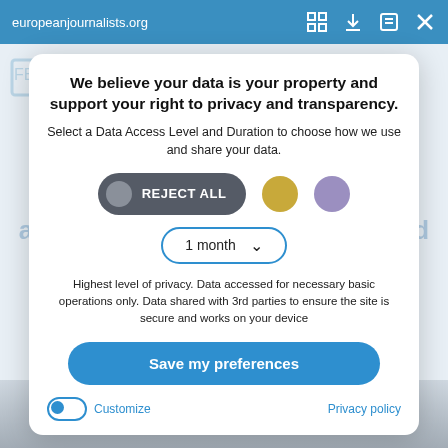europeanjournalists.org
We believe your data is your property and support your right to privacy and transparency.
Select a Data Access Level and Duration to choose how we use and share your data.
[Figure (screenshot): Privacy consent modal with REJECT ALL toggle button, gold and purple circle options, a 1 month dropdown selector, privacy description text, Save my preferences button, Customize toggle and Privacy policy link. Background shows europeanjournalists.org article about Turkey: Cumhuriyet journalists and executives heavily convicted for changing editorial policy.]
Highest level of privacy. Data accessed for necessary basic operations only. Data shared with 3rd parties to ensure the site is secure and works on your device